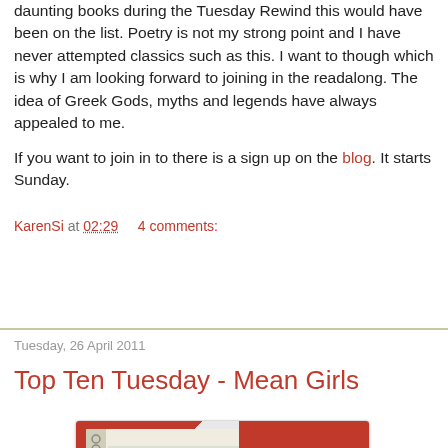daunting books during the Tuesday Rewind this would have been on the list. Poetry is not my strong point and I have never attempted classics such as this. I want to though which is why I am looking forward to joining in the readalong. The idea of Greek Gods, myths and legends have always appealed to me.
If you want to join in to there is a sign up on the blog. It starts Sunday.
KarenSi at 02:29    4 comments:
Share
Tuesday, 26 April 2011
Top Ten Tuesday - Mean Girls
[Figure (photo): Notebook with spiral binding on a red background with cartoon characters (a dog and a ladybug) drawn on lined paper]